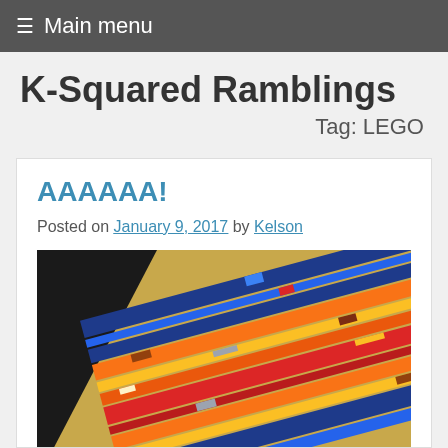≡ Main menu
K-Squared Ramblings
Tag: LEGO
AAAAAA!
Posted on January 9, 2017 by Kelson
[Figure (photo): A LEGO mosaic artwork photographed at an angle, showing colorful rows of LEGO bricks arranged in patterns of blue, red, orange, yellow, and brown against a golden/beige background.]